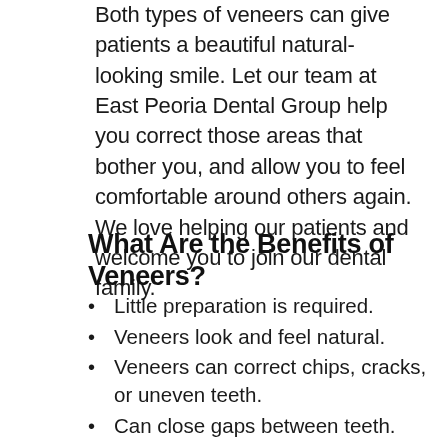Both types of veneers can give patients a beautiful natural-looking smile. Let our team at East Peoria Dental Group help you correct those areas that bother you, and allow you to feel comfortable around others again. We love helping our patients and welcome you to join our dental family.
What Are the Benefits of Veneers?
Little preparation is required.
Veneers look and feel natural.
Veneers can correct chips, cracks, or uneven teeth.
Can close gaps between teeth.
Durable and stain-resistant.
Low maintenance and cost-